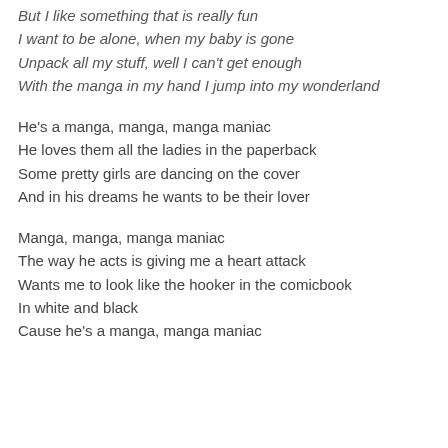But I like something that is really fun
I want to be alone, when my baby is gone
Unpack all my stuff, well I can't get enough
With the manga in my hand I jump into my wonderland
He's a manga, manga, manga maniac
He loves them all the ladies in the paperback
Some pretty girls are dancing on the cover
And in his dreams he wants to be their lover
Manga, manga, manga maniac
The way he acts is giving me a heart attack
Wants me to look like the hooker in the comicbook
In white and black
Cause he's a manga, manga maniac